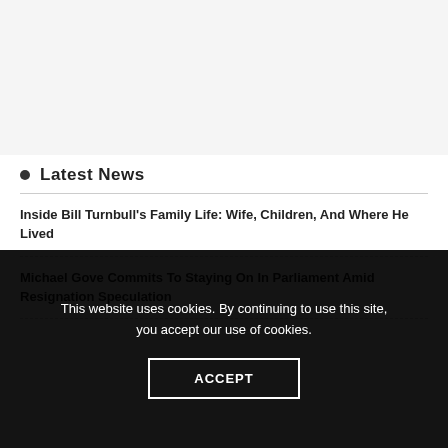Latest News
Inside Bill Turnbull's Family Life: Wife, Children, And Where He Lived
Michael Gove Commits To Staying On In Parliament Amid Resignation Speculation
This website uses cookies. By continuing to use this site, you accept our use of cookies.
ACCEPT